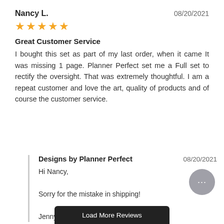Nancy L.
08/20/2021
[Figure (other): 5 gold star rating]
Great Customer Service
I bought this set as part of my last order, when it came It was missing 1 page. Planner Perfect set me a Full set to rectify the oversight. That was extremely thoughtful. I am a repeat customer and love the art, quality of products and of course the customer service.
Designs by Planner Perfect
08/20/2021
Hi Nancy,

Sorry for the mistake in shipping!

Jenny